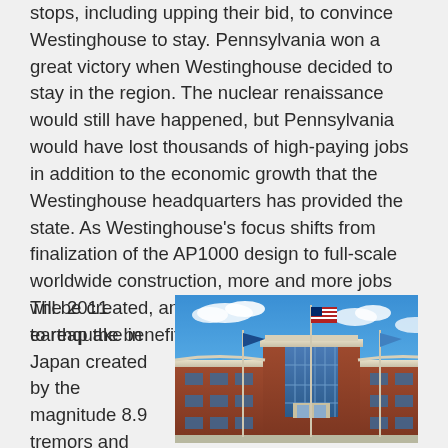stops, including upping their bid, to convince Westinghouse to stay. Pennsylvania won a great victory when Westinghouse decided to stay in the region. The nuclear renaissance would still have happened, but Pennsylvania would have lost thousands of high-paying jobs in addition to the economic growth that the Westinghouse headquarters has provided the state. As Westinghouse's focus shifts from finalization of the AP1000 design to full-scale worldwide construction, more and more jobs will be created, and Pennsylvania will continue to reap the benefits for years to come.
The 2011 earthquake in Japan created by the magnitude 8.9 tremors and tsunami that
[Figure (photo): Exterior photo of the Westinghouse headquarters building, a large red brick building with a modern glass and white-trimmed facade, three flagpoles with flags, and a blue sky with clouds.]